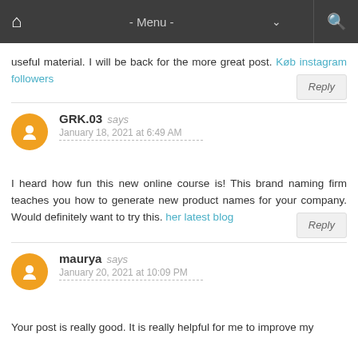- Menu -
useful material. I will be back for the more great post. Køb instagram followers
GRK.03 says January 18, 2021 at 6:49 AM
I heard how fun this new online course is! This brand naming firm teaches you how to generate new product names for your company. Would definitely want to try this. her latest blog
maurya says January 20, 2021 at 10:09 PM
Your post is really good. It is really helpful for me to improve my